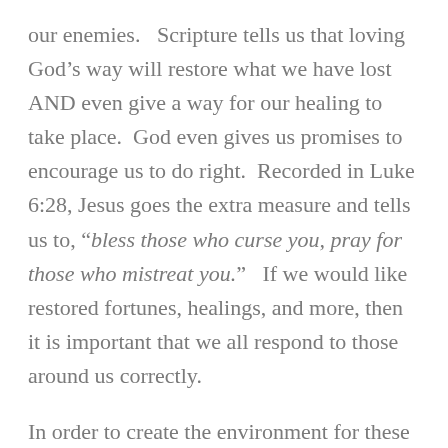our enemies.   Scripture tells us that loving God’s way will restore what we have lost AND even give a way for our healing to take place.  God even gives us promises to encourage us to do right.  Recorded in Luke 6:28, Jesus goes the extra measure and tells us to, “bless those who curse you, pray for those who mistreat you.”   If we would like restored fortunes, healings, and more, then it is important that we all respond to those around us correctly.
In order to create the environment for these promises to take place we must also understand